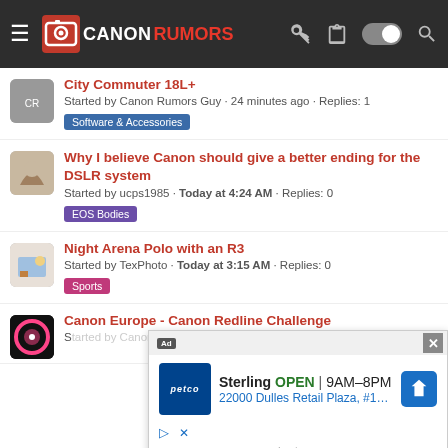CANONRUMORS
City Commuter 18L+ — Started by Canon Rumors Guy · 24 minutes ago · Replies: 1 — Tag: Software & Accessories
Why I believe Canon should give a better ending for the DSLR system — Started by ucps1985 · Today at 4:24 AM · Replies: 0 — Tag: EOS Bodies
Night Arena Polo with an R3 — Started by TexPhoto · Today at 3:15 AM · Replies: 0 — Tag: Sports
Canon Europe - Canon Redline Challenge — Started by Canon Rumors Guy · Yesterday at 8:53 PM · Replies: ...
[Figure (screenshot): Advertisement overlay from Petco showing Sterling location open 9AM-8PM at 22000 Dulles Retail Plaza, #110]